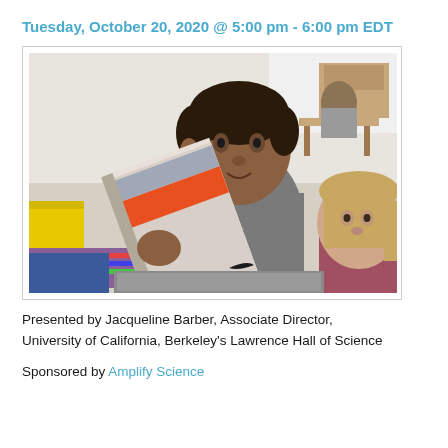Tuesday, October 20, 2020 @ 5:00 pm - 6:00 pm EDT
[Figure (photo): A boy reading a book aloud to a girl in a classroom setting. Other students are visible in the background.]
Presented by Jacqueline Barber, Associate Director, University of California, Berkeley's Lawrence Hall of Science
Sponsored by Amplify Science